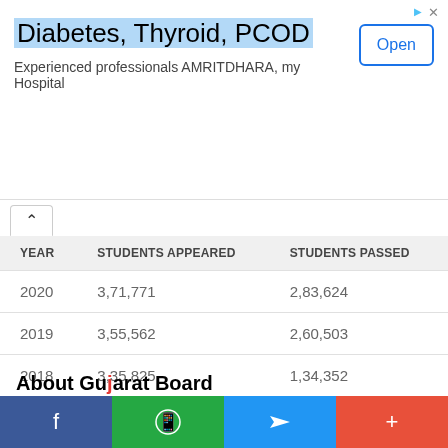[Figure (screenshot): Advertisement banner for Diabetes, Thyroid, PCOD - Experienced professionals AMRITDHARA, my Hospital with Open button]
| YEAR | STUDENTS APPEARED | STUDENTS PASSED |
| --- | --- | --- |
| 2020 | 3,71,771 | 2,83,624 |
| 2019 | 3,55,562 | 2,60,503 |
| 2018 | 3,35,825 | 1,34,352 |
| 2017 | 1,38,727 | 81.89% |
About Gujarat Board
Gujarat Secondary and Higher Secondary Education Board is
[Figure (infographic): Social media share bar with Facebook, WhatsApp, Telegram and More buttons]